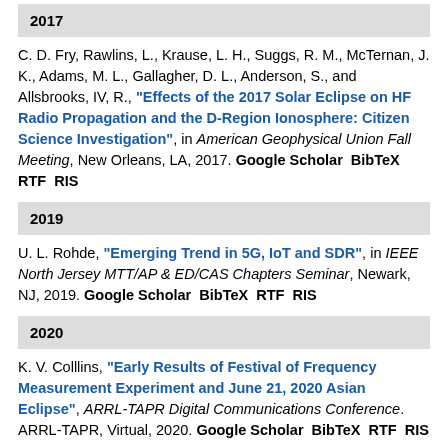2017
C. D. Fry, Rawlins, L., Krause, L. H., Suggs, R. M., McTernan, J. K., Adams, M. L., Gallagher, D. L., Anderson, S., and Allsbrooks, IV, R., “Effects of the 2017 Solar Eclipse on HF Radio Propagation and the D-Region Ionosphere: Citizen Science Investigation”, in American Geophysical Union Fall Meeting, New Orleans, LA, 2017. Google Scholar BibTeX RTF RIS
2019
U. L. Rohde, “Emerging Trend in 5G, IoT and SDR”, in IEEE North Jersey MTT/AP & ED/CAS Chapters Seminar, Newark, NJ, 2019. Google Scholar BibTeX RTF RIS
2020
K. V. Colllins, “Early Results of Festival of Frequency Measurement Experiment and June 21, 2020 Asian Eclipse”, ARRL-TAPR Digital Communications Conference. ARRL-TAPR, Virtual, 2020. Google Scholar BibTeX RTF RIS